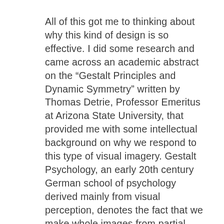All of this got me to thinking about why this kind of design is so effective. I did some research and came across an academic abstract on the “Gestalt Principles and Dynamic Symmetry” written by Thomas Detrie, Professor Emeritus at Arizona State University, that provided me with some intellectual background on why we respond to this type of visual imagery. Gestalt Psychology, an early 20th century German school of psychology derived mainly from visual perception, denotes the fact that we make whole images from partial data. It’s referred to as the “Closure Principle.” In fact, according to Professor Detrie, as much as we seek it, we have a recurrent willingness to delay